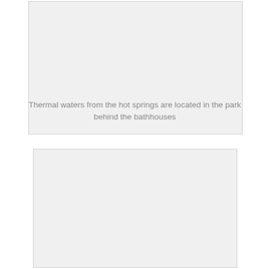[Figure (photo): Large light gray placeholder image box at top of page]
Thermal waters from the hot springs are located in the park behind the bathhouses
[Figure (photo): Large light gray placeholder image box at bottom of page]